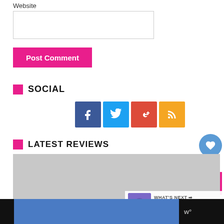Website
[Figure (screenshot): Website input text field]
Post Comment
SOCIAL
[Figure (infographic): Social media icons: Facebook, Twitter, Google+, RSS feed]
LATEST REVIEWS
[Figure (photo): Gray placeholder image for latest reviews]
[Figure (screenshot): What's Next: Borderlands: The Pre-... thumbnail with heart/like button showing count 1 and scroll-to-top button]